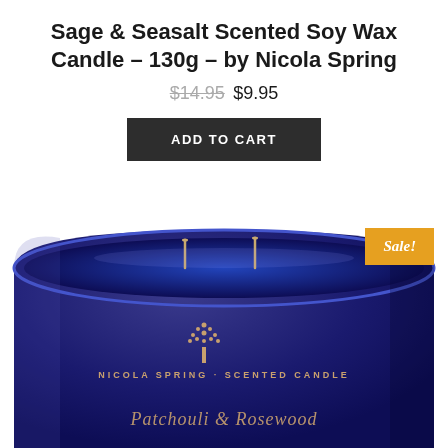Sage & Seasalt Scented Soy Wax Candle – 130g – by Nicola Spring
$14.95 $9.95
ADD TO CART
[Figure (photo): Blue glass jar candle with gold tree logo and text 'NICOLA SPRING - SCENTED CANDLE' and script text below, with two visible wicks inside]
Sale!